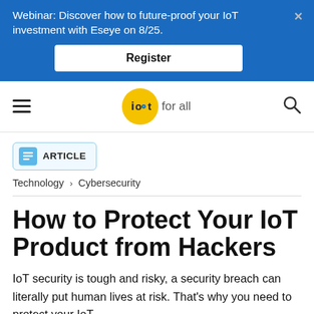Webinar: Discover how to future-proof your IoT investment with Eseye on 8/25. Register
[Figure (logo): IoT For All logo — yellow circle with 'iot' text and 'for all' beside it]
ARTICLE
Technology > Cybersecurity
How to Protect Your IoT Product from Hackers
IoT security is tough and risky, a security breach can literally put human lives at risk. That's why you need to protect your IoT